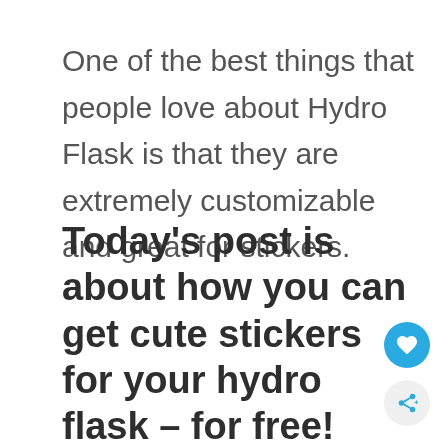One of the best things that people love about Hydro Flask is that they are extremely customizable and great for stickers.
Today's post is about how you can get cute stickers for your hydro flask – for free!